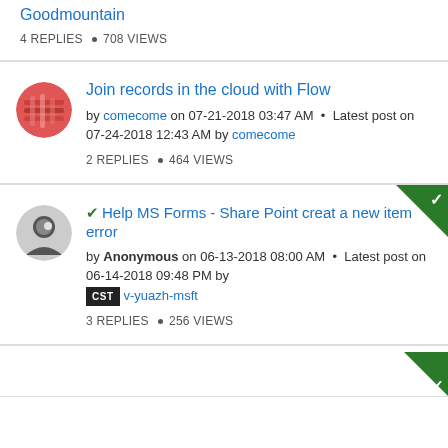Goodmountain
4 REPLIES • 708 VIEWS
Join records in the cloud with Flow
by comecome on 07-21-2018 03:47 AM · Latest post on 07-24-2018 12:43 AM by comecome
2 REPLIES • 464 VIEWS
✔ Help MS Forms - Share Point creat a new item error
by Anonymous on 06-13-2018 08:00 AM · Latest post on 06-14-2018 09:48 PM by CST v-yuazh-msft
3 REPLIES • 256 VIEWS